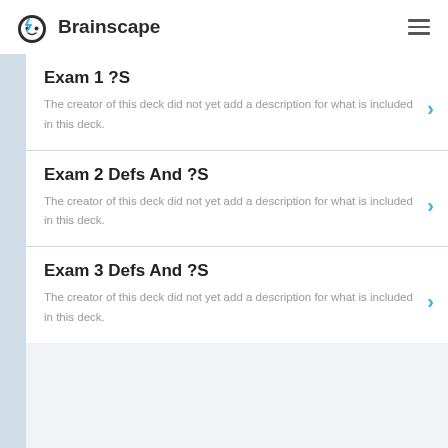Brainscape
Exam 1 ?S
The creator of this deck did not yet add a description for what is included in this deck.
Exam 2 Defs And ?S
The creator of this deck did not yet add a description for what is included in this deck.
Exam 3 Defs And ?S
The creator of this deck did not yet add a description for what is included in this deck.